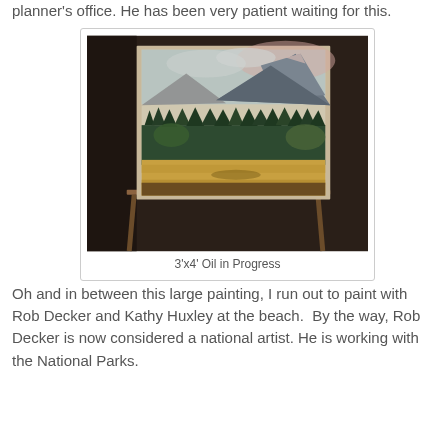planner's office. He has been very patient waiting for this.
[Figure (photo): A painting on an easel in a studio showing a landscape with mountains, pine trees, and a golden meadow. The painting is a 3x4 foot oil work in progress.]
3'x4' Oil in Progress
Oh and in between this large painting, I run out to paint with Rob Decker and Kathy Huxley at the beach.  By the way, Rob Decker is now considered a national artist. He is working with the National Parks.